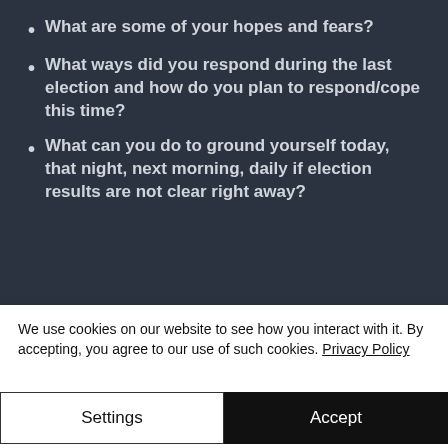What are some of your hopes and fears?
What ways did you respond during the last election and how do you plan to respond/cope this time?
What can you do to ground yourself today, that night, next morning, daily if election results are not clear right away?
We use cookies on our website to see how you interact with it. By accepting, you agree to our use of such cookies. Privacy Policy